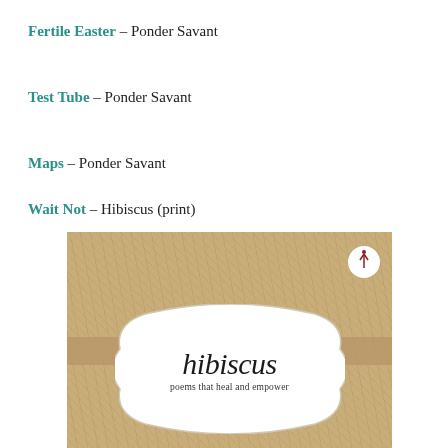Fertile Easter – Ponder Savant
Test Tube – Ponder Savant
Maps – Ponder Savant
Wait Not – Hibiscus (print)
[Figure (photo): Book cover for 'hibiscus: poems that heal and empower' showing a sandy/stone textured background with an ornamental white oval label in the center containing the title in script font and subtitle text. A small circular logo with an arrow figure appears in the upper right corner.]